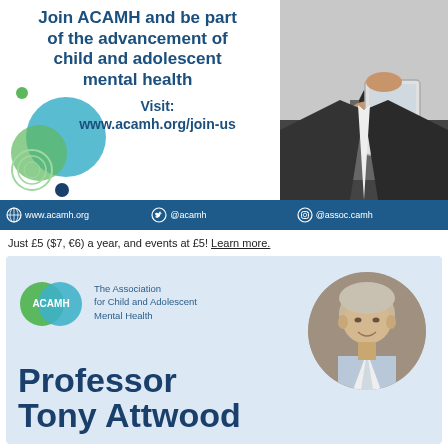[Figure (infographic): ACAMH membership advertisement banner with decorative circles, text about joining ACAMH, and a photo of a person holding a tablet]
Join ACAMH and be part of the advancement of child and adolescent mental health
Visit: www.acamh.org/join-us
www.acamh.org   @acamh   @assoc.camh
Just £5 ($7, €6) a year, and events at £5! Learn more.
[Figure (infographic): ACAMH logo card with The Association for Child and Adolescent Mental Health text, Professor Tony Attwood name in large bold text, and a circular portrait photo of a man]
The Association for Child and Adolescent Mental Health
Professor Tony Attwood